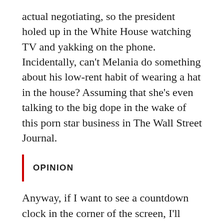actual negotiating, so the president holed up in the White House watching TV and yakking on the phone. Incidentally, can't Melania do something about his low-rent habit of wearing a hat in the house? Assuming that she's even talking to the big dope in the wake of this porn star business in The Wall Street Journal.
OPINION
Anyway, if I want to see a countdown clock in the corner of the screen, I'll watch a ballgame. The TV news networks' turning congressional politics into ratings-building melodrama, complete with good guys, bad guys and manufactured suspense, definitely ain't helping. It rewards dogmatism over pragmatism, reducing complex issues to a simple game with clear-cut